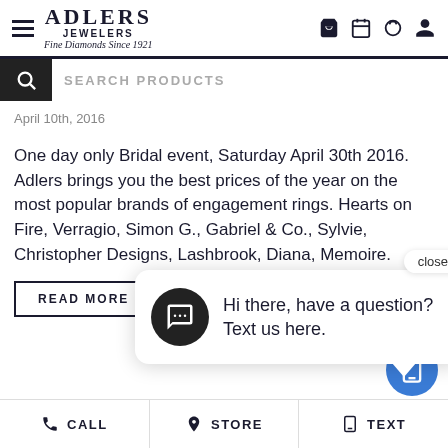ADLERS JEWELERS Fine Diamonds Since 1921
SEARCH PRODUCTS
April 10th, 2016
One day only Bridal event, Saturday April 30th 2016. Adlers brings you the best prices of the year on the most popular brands of engagement rings. Hearts on Fire, Verragio, Simon G., Gabriel & Co., Sylvie, Christopher Designs, Lashbrook, Diana, Memoire.
READ MORE
[Figure (screenshot): Chat popup bubble with message icon and text: Hi there, have a question? Text us here. with close button.]
[Figure (screenshot): Blue circular chat button with mobile phone icon]
CALL   STORE   TEXT